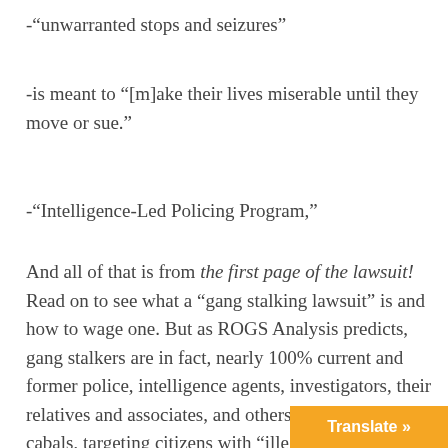-“unwarranted stops and seizures”
-is meant to “[m]ake their lives miserable until they move or sue.”
-“Intelligence-Led Policing Program,”
And all of that is from the first page of the lawsuit! Read on to see what a “gang stalking lawsuit” is and how to wage one. But as ROGS Analysis predicts, gang stalkers are in fact, nearly 100% current and former police, intelligence agents, investigators, their relatives and associates, and others in their secret cabals, targeting citizens with “illegal policing” tactics.